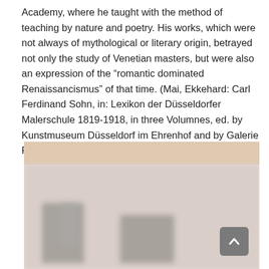Academy, where he taught with the method of teaching by nature and poetry. His works, which were not always of mythological or literary origin, betrayed not only the study of Venetian masters, but were also an expression of the “romantic dominated Renaissancismus” of that time. (Mai, Ekkehard: Carl Ferdinand Sohn, in: Lexikon der Düsseldorfer Malerschule 1819-1918, in three Volumnes, ed. by Kunstmuseum Düsseldorf im Ehrenhof and by Galerie Paffrath, Düsseldorf, München 1998, Vol. 2, p. 292.)
[Figure (photo): Blurred photograph of what appears to be an interior or artwork scene, with a warm beige/tan background at the top and lighter tones below. The image is largely out of focus with indistinct figures or objects visible.]